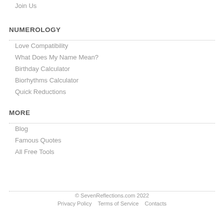Join Us
NUMEROLOGY
Love Compatibility
What Does My Name Mean?
Birthday Calculator
Biorhythms Calculator
Quick Reductions
MORE
Blog
Famous Quotes
All Free Tools
© SevenReflections.com 2022
Privacy Policy   Terms of Service   Contacts